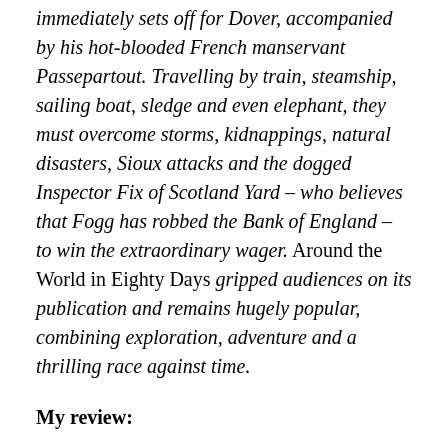immediately sets off for Dover, accompanied by his hot-blooded French manservant Passepartout. Travelling by train, steamship, sailing boat, sledge and even elephant, they must overcome storms, kidnappings, natural disasters, Sioux attacks and the dogged Inspector Fix of Scotland Yard – who believes that Fogg has robbed the Bank of England – to win the extraordinary wager. Around the World in Eighty Days gripped audiences on its publication and remains hugely popular, combining exploration, adventure and a thrilling race against time.
My review:
This is not a dud. Right from the beginning I couldn't put the novel down. Phileas Fogg (I love the name) is a curious man. What I really liked was that even though the story is about his adventure, the readers don't really get